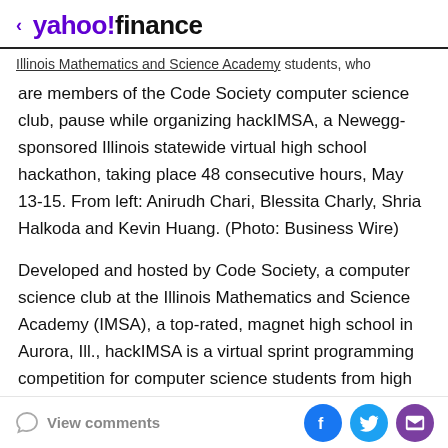< yahoo!finance
Illinois Mathematics and Science Academy students, who are members of the Code Society computer science club, pause while organizing hackIMSA, a Newegg-sponsored Illinois statewide virtual high school hackathon, taking place 48 consecutive hours, May 13-15. From left: Anirudh Chari, Blessita Charly, Shria Halkoda and Kevin Huang. (Photo: Business Wire)
Developed and hosted by Code Society, a computer science club at the Illinois Mathematics and Science Academy (IMSA), a top-rated, magnet high school in Aurora, Ill., hackIMSA is a virtual sprint programming competition for computer science students from high schools throughout the state.
View comments